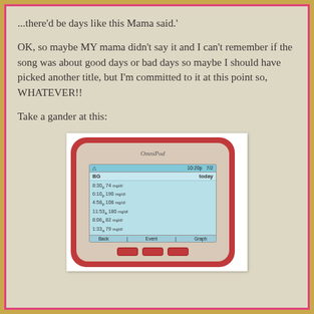...there'd be days like this Mama said.'
OK, so maybe MY mama didn't say it and I can't remember if the song was about good days or bad days so maybe I should have picked another title, but I'm committed to it at this point so, WHATEVER!!
Take a gander at this:
[Figure (photo): Photo of an OmniPod insulin pump PDM device showing a blood glucose log screen. The screen shows: BG today, readings: 8:30p 74 mg/dl, 6:10p 190 mg/dl, 4:58p 108 mg/dl, 11:53a 180 mg/dl, 8:06a 82 mg/dl, 1:33a 79 mg/dl. Footer buttons: Back, Event, Graph.]